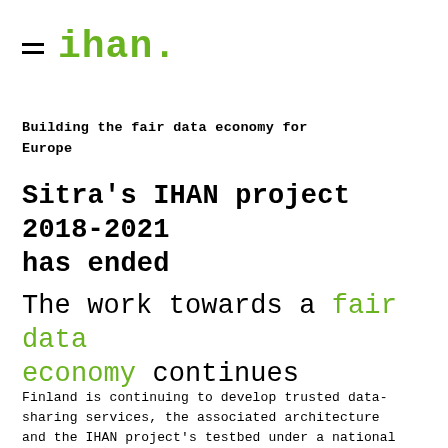ihan.
Building the fair data economy for Europe
Sitra's IHAN project 2018-2021 has ended
The work towards a fair data economy continues
Finland is continuing to develop trusted data-sharing services, the associated architecture and the IHAN project's testbed under a national